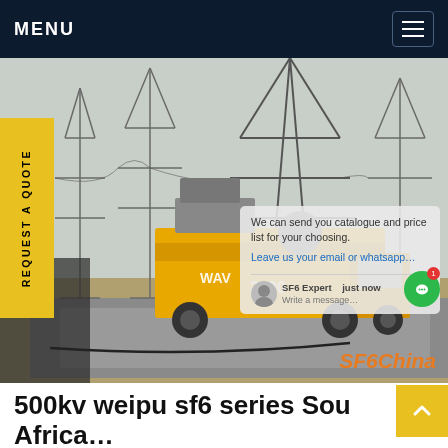MENU
[Figure (photo): Electrical substation with high-voltage power transmission towers and a yellow service/maintenance truck (WAV 2500) parked in the yard. Industrial infrastructure with steel lattice pylons in the background.]
REQUEST A QUOTE
We can send you catalogue and price list for your choosing. Leave us your email or whatsapp…
SF6 Expert   just now
Write a message…
SF6China
500kv weipu sf6 series Sou Africa…